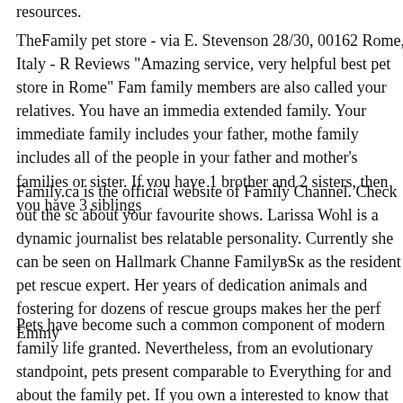resources.
TheFamily pet store - via E. Stevenson 28/30, 00162 Rome, Italy - R Reviews "Amazing service, very helpful best pet store in Rome" Fam family members are also called your relatives. You have an immedia extended family. Your immediate family includes your father, mothe family includes all of the people in your father and mother's families or sister. If you have 1 brother and 2 sisters, then you have 3 siblings
Family.ca is the official website of Family Channel. Check out the sc about your favourite shows. Larissa Wohl is a dynamic journalist bes relatable personality. Currently she can be seen on Hallmark Channe Familyвѓк as the resident pet rescue expert. Her years of dedication animals and fostering for dozens of rescue groups makes her the perf Emmy
Pets have become such a common component of modern family life granted. Nevertheless, from an evolutionary standpoint, pets present comparable to Everything for and about the family pet. If you own a interested to know that according to the American Pet Products Manu